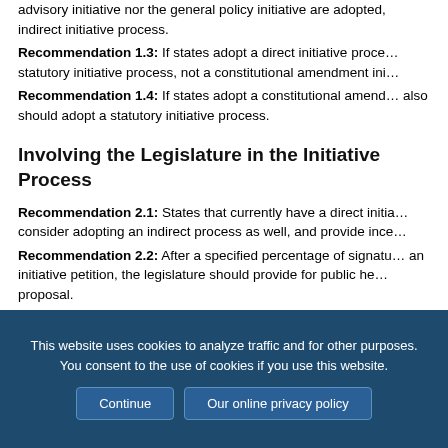advisory initiative nor the general policy initiative are adopted, indirect initiative process.
Recommendation 1.3: If states adopt a direct initiative process, statutory initiative process, not a constitutional amendment initiative.
Recommendation 1.4: If states adopt a constitutional amendment initiative, they also should adopt a statutory initiative process.
Involving the Legislature in the Initiative Process
Recommendation 2.1: States that currently have a direct initiative process should consider adopting an indirect process as well, and provide incentives for its use.
Recommendation 2.2: After a specified percentage of signatures are gathered on an initiative petition, the legislature should provide for public hearings on the proposal.
This website uses cookies to analyze traffic and for other purposes. You consent to the use of cookies if you use this website.